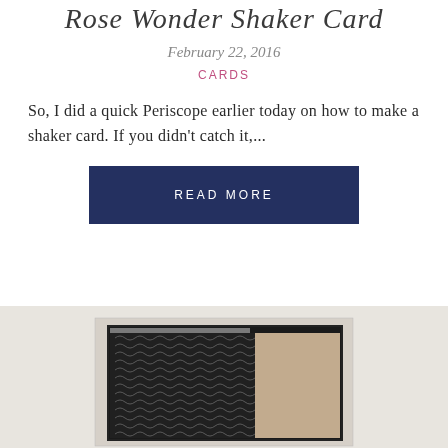Rose Wonder Shaker Card
February 22, 2016
CARDS
So, I did a quick Periscope earlier today on how to make a shaker card.  If you didn't catch it,...
READ MORE
[Figure (photo): A handmade shaker card showing a dark patterned background with wave/scroll designs in grey/silver on black, paired with a tan/kraft panel on the right side, set against a light grey background.]